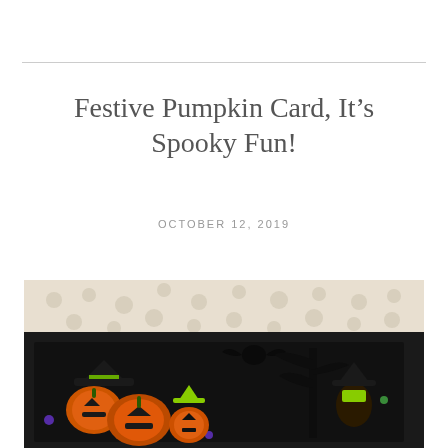Festive Pumpkin Card, It’s Spooky Fun!
OCTOBER 12, 2019
[Figure (photo): A Halloween-themed handmade card with pumpkins, witches, bats, and spooky characters on a black card base, placed on a cream crochet doily background.]